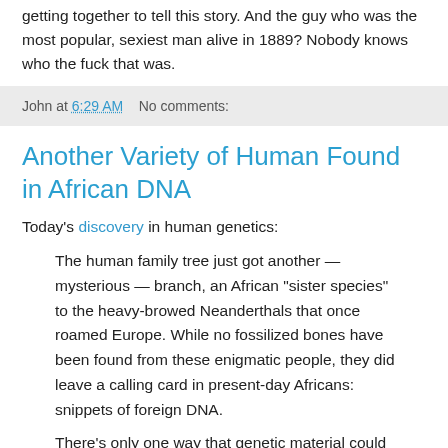getting together to tell this story. And the guy who was the most popular, sexiest man alive in 1889? Nobody knows who the fuck that was.
John at 6:29 AM    No comments:
Another Variety of Human Found in African DNA
Today's discovery in human genetics:
The human family tree just got another — mysterious — branch, an African “sister species” to the heavy-browed Neanderthals that once roamed Europe. While no fossilized bones have been found from these enigmatic people, they did leave a calling card in present-day Africans: snippets of foreign DNA.
There's only one way that genetic material could